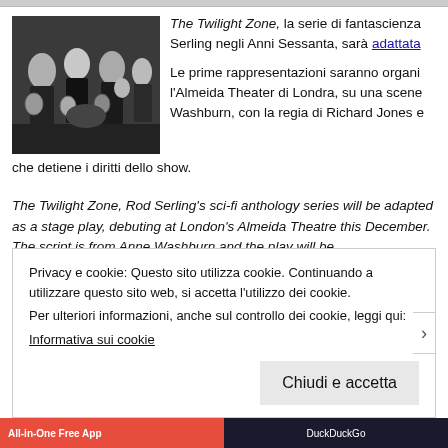[Figure (photo): Black and white group photo of several people in formal attire, some holding masks, theatrical style]
The Twilight Zone, la serie di fantascienza Serling negli Anni Sessanta, sarà adattata Le prime rappresentazioni saranno organizzate all'Almeida Theater di Londra, su una scena Washburn, con la regia di Richard Jones e che detiene i diritti dello show.
The Twilight Zone, Rod Serling's sci-fi anthology series will be adapted as a stage play, debuting at London's Almeida Theatre this December. The script is from Anne Washburn and the play will be
Privacy e cookie: Questo sito utilizza cookie. Continuando a utilizzare questo sito web, si accetta l'utilizzo dei cookie.
Per ulteriori informazioni, anche sul controllo dei cookie, leggi qui:
Informativa sui cookie
Chiudi e accetta